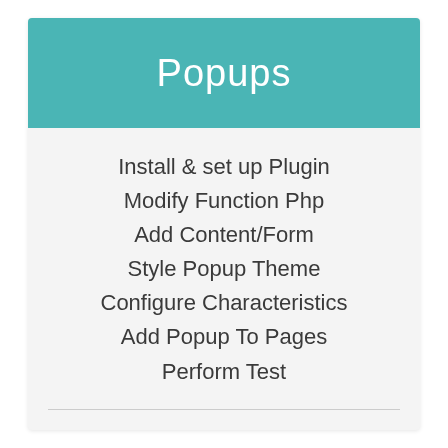Popups
Install & set up Plugin
Modify Function Php
Add Content/Form
Style Popup Theme
Configure Characteristics
Add Popup To Pages
Perform Test
$39